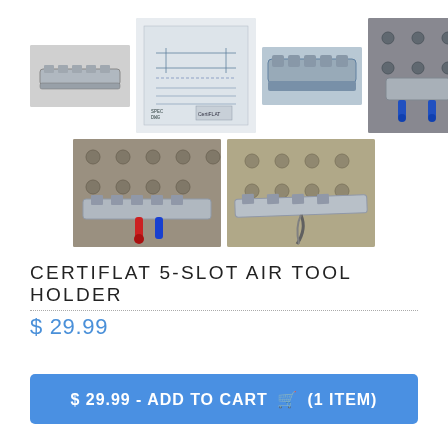[Figure (photo): Product image gallery showing CertiFLAT 5-Slot Air Tool Holder — top row: standalone holder photo, engineering drawing/blueprint, product top view, and installed-in-use photo; bottom row: two additional in-use installation photos on a welding table.]
CERTIFLAT 5-SLOT AIR TOOL HOLDER
$ 29.99
$ 29.99 - ADD TO CART (1 ITEM)